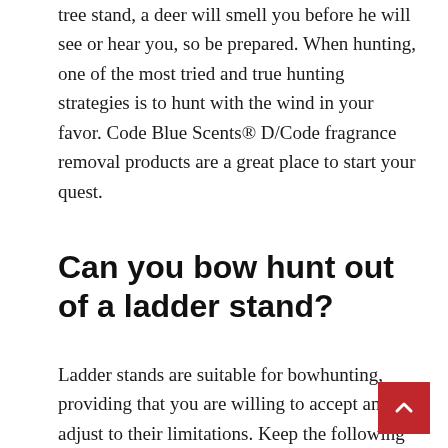tree stand, a deer will smell you before he will see or hear you, so be prepared. When hunting, one of the most tried and true hunting strategies is to hunt with the wind in your favor. Code Blue Scents® D/Code fragrance removal products are a great place to start your quest.
Can you bow hunt out of a ladder stand?
Ladder stands are suitable for bowhunting, providing that you are willing to accept and adjust to their limitations. Keep the following points in mind: Make them a reality. I prefer to give deer time to grow acquainted to a